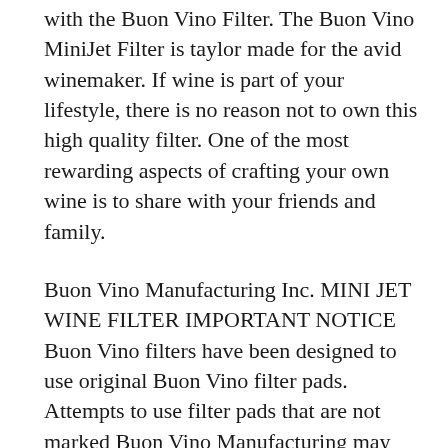with the Buon Vino Filter. The Buon Vino MiniJet Filter is taylor made for the avid winemaker. If wine is part of your lifestyle, there is no reason not to own this high quality filter. One of the most rewarding aspects of crafting your own wine is to share with your friends and family.
Buon Vino Manufacturing Inc. MINI JET WINE FILTER IMPORTANT NOTICE Buon Vino filters have been designed to use original Buon Vino filter pads. Attempts to use filter pads that are not marked Buon Vino Manufacturing may result in problems with filtration and could affect the performance of the filter. This compact filter is designed for the home wine maker who is filtering 5-10 gallons at a time. Perfect for filtering wine concentrate kits. There is a small